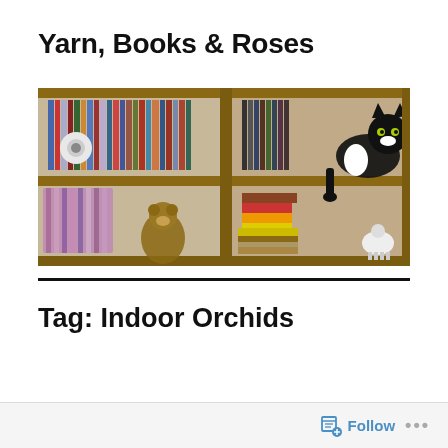Yarn, Books & Roses
[Figure (photo): A wooden bookshelf with two sections. Left section: top shelf has rows of upright books, a white round security camera visible; bottom shelf has a knitted/crocheted colorful blanket and a stuffed toy bear. Right section: top shelf has a black-and-white cat reclining with one paw dangling, books behind it; bottom shelf has stacks of books including a yellow-spined book and a small decorative white sheep figurine.]
Tag: Indoor Orchids
Follow ...